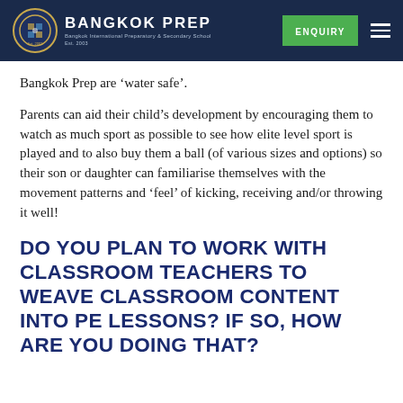BANGKOK PREP — Bangkok International Preparatory & Secondary School | ENQUIRY
Bangkok Prep are 'water safe'.
Parents can aid their child's development by encouraging them to watch as much sport as possible to see how elite level sport is played and to also buy them a ball (of various sizes and options) so their son or daughter can familiarise themselves with the movement patterns and 'feel' of kicking, receiving and/or throwing it well!
DO YOU PLAN TO WORK WITH CLASSROOM TEACHERS TO WEAVE CLASSROOM CONTENT INTO PE LESSONS? IF SO, HOW ARE YOU DOING THAT?